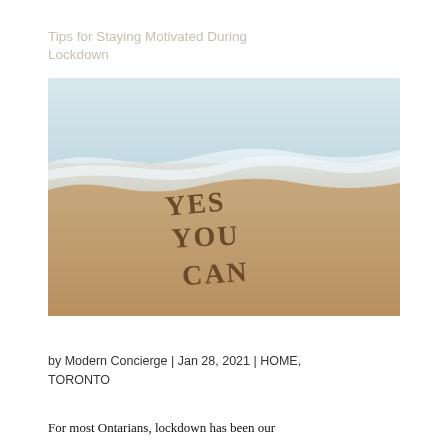Tips for Staying Motivated During Lockdown
[Figure (photo): A beach photo showing ocean waves on sandy shore with the words YES YOU CAN written in the sand in large letters]
by Modern Concierge | Jan 28, 2021 | HOME, TORONTO
For most Ontarians, lockdown has been our